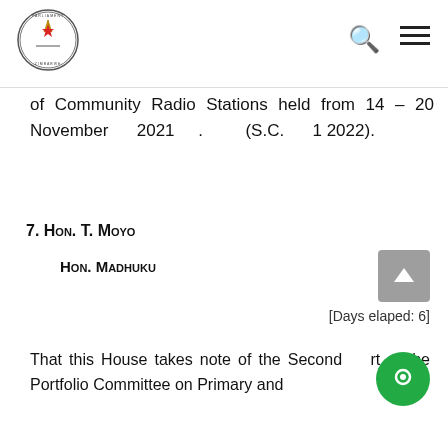Parliament of Zimbabwe header with logo, search icon, and menu icon
of Community Radio Stations held from 14 – 20 November 2021 . (S.C. 1 2022).
7. Hon. T. Moyo
Hon. Madhuku
[Days elaped: 6]
That this House takes note of the Second Report of the Portfolio Committee on Primary and